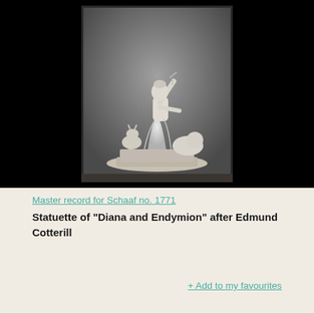[Figure (photo): Black and white photograph of a statuette depicting Diana and Endymion after Edmund Cotterill. The sculpture shows a female figure (Diana) in dynamic pose with arm raised, accompanied by a deer and other figures, mounted on a base. Photo has a dark surround.]
Master record for Schaaf no. 1771
Statuette of "Diana and Endymion" after Edmund Cotterill
+ Add to my favourites